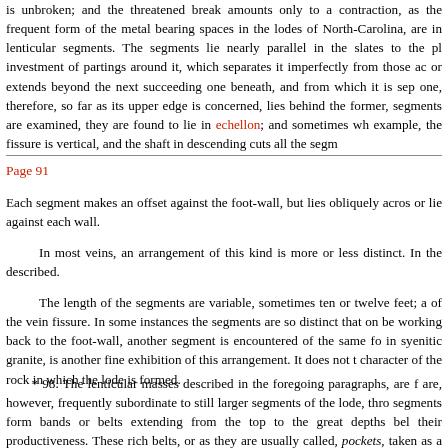is unbroken; and the threatened break amounts only to a contraction, as the frequent form of the metal bearing spaces in the lodes of North-Carolina, are in lenticular segments. The segments lie nearly parallel in the slates to the pl investment of partings around it, which separates it imperfectly from those ac or extends beyond the next succeeding one beneath, and from which it is sep one, therefore, so far as its upper edge is concerned, lies behind the former, segments are examined, they are found to lie in echellon; and sometimes wh example, the fissure is vertical, and the shaft in descending cuts all the segm
Page 91
Each segment makes an offset against the foot-wall, but lies obliquely acros or lie against each wall.
In most veins, an arrangement of this kind is more or less distinct. In the described.
The length of the segments are variable, sometimes ten or twelve feet; a of the vein fissure. In some instances the segments are so distinct that on be working back to the foot-wall, another segment is encountered of the same fo in syenitic granite, is another fine exhibition of this arrangement. It does not t character of the rock in which the lode is formed.
* 98. The lenticular masses described in the foregoing paragraphs, are f are, however, frequently subordinate to still larger segments of the lode, thro segments form bands or belts extending from the top to the great depths bel their productiveness. These rich belts, or as they are usually called, pockets, taken as a whole, has first its greater divisions of rich and poor belts or pocke vein; and then these belts, whether rich or poor, are formed by lenticular mas eye, the poor belts furnish no characteristics by which they can be distinguish